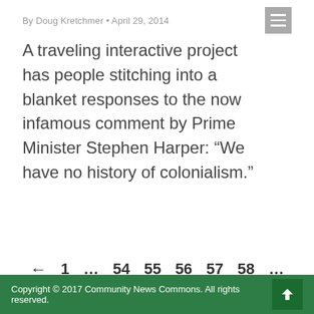By Doug Kretchmer • April 29, 2014
A traveling interactive project has people stitching into a blanket responses to the now infamous comment by Prime Minister Stephen Harper: “We have no history of colonialism.”
←  1  ...  54  55  56  57  58  ...  72  →
Copyright © 2017 Community News Commons. All rights reserved.